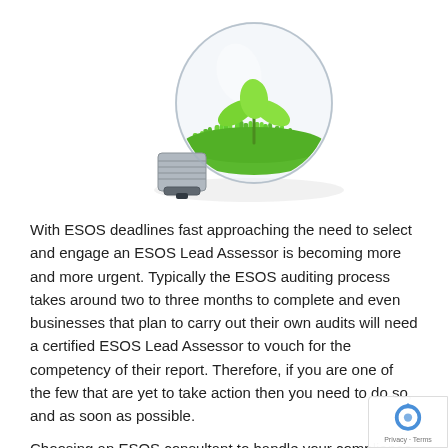[Figure (illustration): A glass light bulb lying on its side containing green grass and a small plant seedling growing inside it, symbolizing green energy or eco-friendly concepts.]
With ESOS deadlines fast approaching the need to select and engage an ESOS Lead Assessor is becoming more and more urgent. Typically the ESOS auditing process takes around two to three months to complete and even businesses that plan to carry out their own audits will need a certified ESOS Lead Assessor to vouch for the competency of their report. Therefore, if you are one of the few that are yet to take action then you need to do so, and as soon as possible.
Choosing an ESOS consultant to handle your compliance is no easy feat. There are a number of